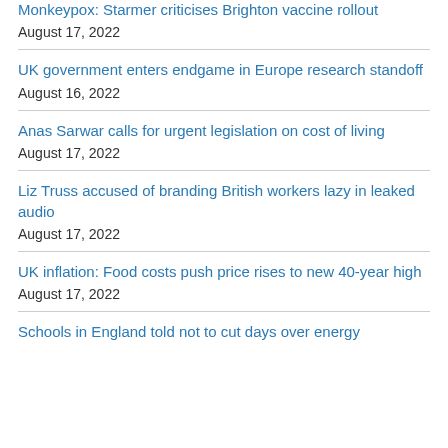Monkeypox: Starmer criticises Brighton vaccine rollout
August 17, 2022
UK government enters endgame in Europe research standoff
August 16, 2022
Anas Sarwar calls for urgent legislation on cost of living
August 17, 2022
Liz Truss accused of branding British workers lazy in leaked audio
August 17, 2022
UK inflation: Food costs push price rises to new 40-year high
August 17, 2022
Schools in England told not to cut days over energy